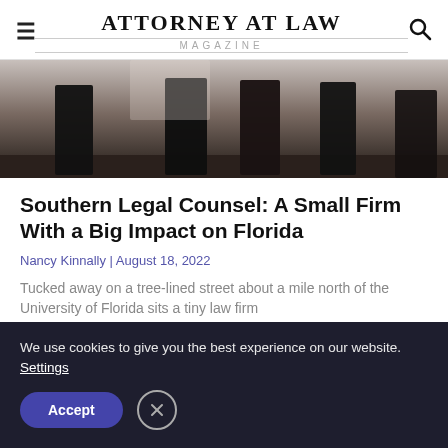ATTORNEY AT LAW MAGAZINE
[Figure (photo): People in dark suits standing in a hallway or office corridor, viewed from the waist down]
Southern Legal Counsel: A Small Firm With a Big Impact on Florida
Nancy Kinnally | August 18, 2022
Tucked away on a tree-lined street about a mile north of the University of Florida sits a tiny law firm
Read More »
We use cookies to give you the best experience on our website. Settings